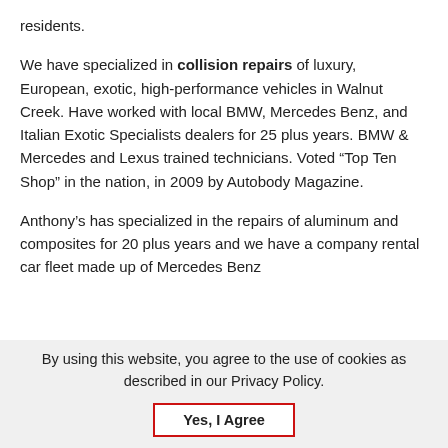residents.
We have specialized in collision repairs of luxury, European, exotic, high-performance vehicles in Walnut Creek. Have worked with local BMW, Mercedes Benz, and Italian Exotic Specialists dealers for 25 plus years. BMW & Mercedes and Lexus trained technicians. Voted “Top Ten Shop” in the nation, in 2009 by Autobody Magazine.
Anthony’s has specialized in the repairs of aluminum and composites for 20 plus years and we have a company rental car fleet made up of Mercedes Benz
By using this website, you agree to the use of cookies as described in our Privacy Policy.
Yes, I Agree